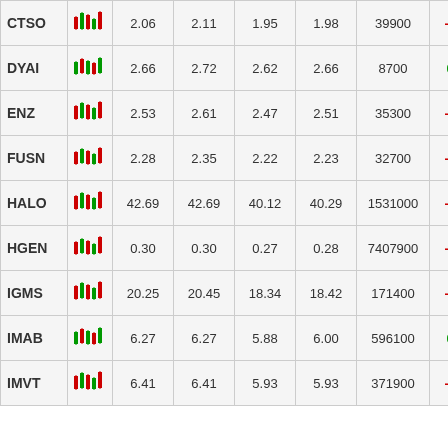| Symbol | Chart | Open | High | Low | Close | Volume | Change% |
| --- | --- | --- | --- | --- | --- | --- | --- |
| CTSO |  | 2.06 | 2.11 | 1.95 | 1.98 | 39900 | -4.35% |
| DYAI |  | 2.66 | 2.72 | 2.62 | 2.66 | 8700 | 0.38% |
| ENZ |  | 2.53 | 2.61 | 2.47 | 2.51 | 35300 | -1.95% |
| FUSN |  | 2.28 | 2.35 | 2.22 | 2.23 | 32700 | -1.76% |
| HALO |  | 42.69 | 42.69 | 40.12 | 40.29 | 1531000 | -4.77% |
| HGEN |  | 0.30 | 0.30 | 0.27 | 0.28 | 7407900 | -9.68% |
| IGMS |  | 20.25 | 20.45 | 18.34 | 18.42 | 171400 | -8.81% |
| IMAB |  | 6.27 | 6.27 | 5.88 | 6.00 | 596100 | 0.84% |
| IMVT |  | 6.41 | 6.41 | 5.93 | 5.93 | 371900 | -6.91% |